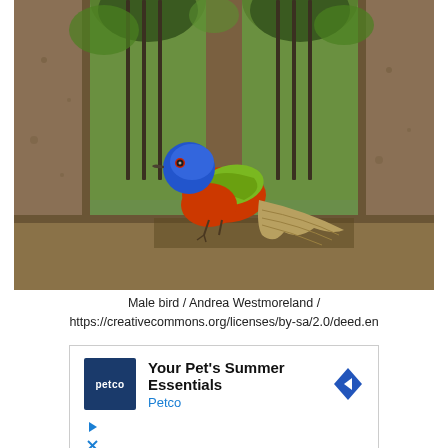[Figure (photo): A colorful male Painted Bunting bird perched on a wooden ledge inside a stone or concrete structure with arched openings. The bird has a vivid blue head, green-yellow back, and orange-red underparts and tail. Background shows green foliage through arched openings.]
Male bird / Andrea Westmoreland / https://creativecommons.org/licenses/by-sa/2.0/deed.en
[Figure (other): Petco advertisement banner: 'Your Pet's Summer Essentials' with Petco logo (dark blue square with white 'petco' text), a blue navigation arrow icon, play and close/X icons in blue.]